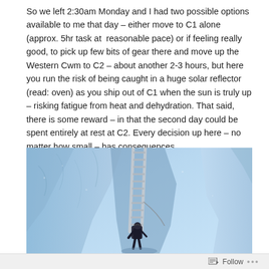So we left 2:30am Monday and I had two possible options available to me that day – either move to C1 alone (approx. 5hr task at reasonable pace) or if feeling really good, to pick up few bits of gear there and move up the Western Cwm to C2 – about another 2-3 hours, but here you run the risk of being caught in a huge solar reflector (read: oven) as you ship out of C1 when the sun is truly up – risking fatigue from heat and dehydration. That said, there is some reward – in that the second day could be spent entirely at rest at C2. Every decision up here – no matter how small – has consequences.
[Figure (photo): A mountaineer in dark gear with a backpack stands at the base of a tall aluminum ladder that extends upward through a crevasse or icefall. The surrounding walls are blue-white glacial ice and snow. The image is taken from below looking up.]
Follow